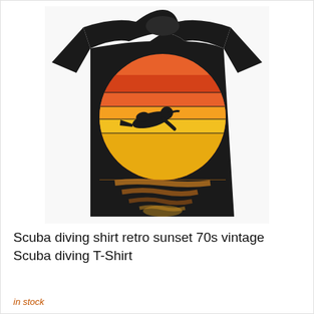[Figure (photo): A black t-shirt featuring a retro vintage 70s style design with a scuba diver silhouette in front of a striped orange and yellow sunset circle, with a wavy reflection below the horizon line on the shirt.]
Scuba diving shirt retro sunset 70s vintage Scuba diving T-Shirt
in stock